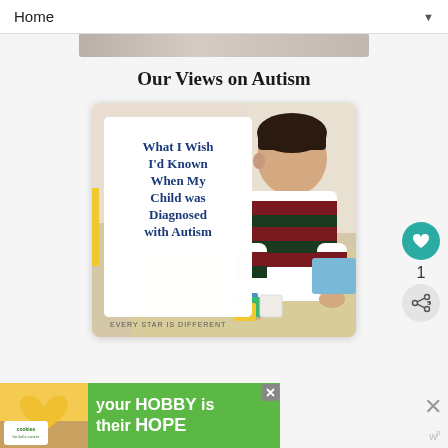Home ▼
[Figure (photo): Partial top strip of a cropped image, appears to be a banner or header image]
Our Views on Autism
[Figure (photo): Blog post card image showing a young boy playing with colorful blocks, with white text overlay reading 'What I Wish I'd Known When My Child was Diagnosed with Autism' and footer text 'EVERY STAR IS DIFFERENT']
1
[Figure (infographic): Advertisement banner for 'cookies for kid's cancer' showing hands holding a heart-shaped cookie, text reads 'your HOBBY is their HOPE']